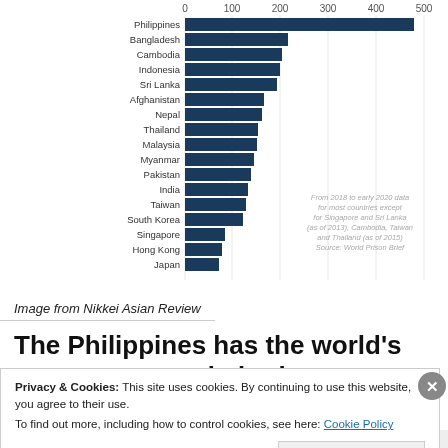[Figure (bar-chart): Prison overcrowding by country]
Image from Nikkei Asian Review
The Philippines has the world's most overcrowded prisons,
Privacy & Cookies: This site uses cookies. By continuing to use this website, you agree to their use.
To find out more, including how to control cookies, see here: Cookie Policy